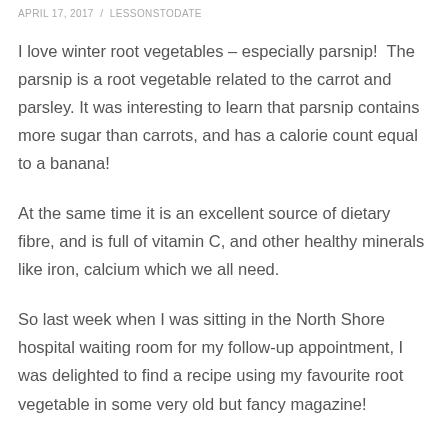APRIL 17, 2017 / LESSONSTODATE
I love winter root vegetables – especially parsnip!  The parsnip is a root vegetable related to the carrot and parsley. It was interesting to learn that parsnip contains more sugar than carrots, and has a calorie count equal to a banana!
At the same time it is an excellent source of dietary fibre, and is full of vitamin C, and other healthy minerals like iron, calcium which we all need.
So last week when I was sitting in the North Shore hospital waiting room for my follow-up appointment, I was delighted to find a recipe using my favourite root vegetable in some very old but fancy magazine!